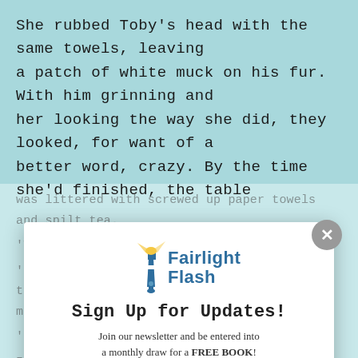She rubbed Toby's head with the same towels, leaving a patch of white muck on his fur. With him grinning and her looking the way she did, they looked, for want of a better word, crazy. By the time she'd finished, the table
was littered with screwed up paper towels and spilt tea.
'There,' she said, th...
'Good,' I said. 'Do you want a fresh cup? I think you might have spilled this one a bit.'
'I don't think'...books
I plac...one 120...on the table,
the edge touching her fingertips. She drew her hand back
'How much do I owe you?' she asked.
[Figure (logo): Fairlight Flash lighthouse logo with lighthouse icon and text 'Fairlight Flash']
Sign Up for Updates!
Join our newsletter and be entered into a monthly draw for a FREE BOOK!
First Name | Last Name
Email
Subscribe
By subscribing to Fairlight Flash you are agreeing for us to store your name and email address in our database and send you emails about Fairlight's Books, short stories, publications, and news. You can remove your details at any time by emailing us at